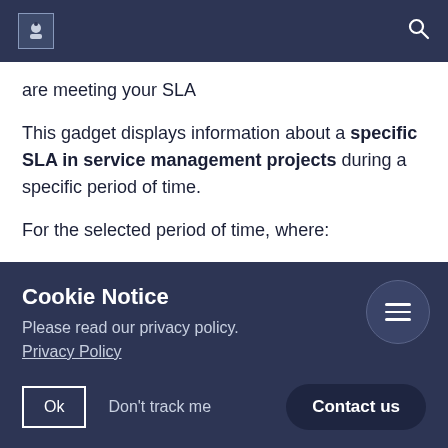[Logo icon] [Search icon]
are meeting your SLA
This gadget displays information about a specific SLA in service management projects during a specific period of time.
For the selected period of time, where:
Cookie Notice
Please read our privacy policy.
Privacy Policy
Ok   Don't track me   Contact us